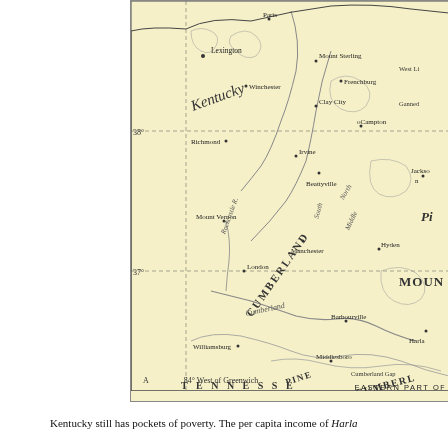[Figure (map): A vintage yellow-toned map showing the eastern part of Kentucky, featuring cities such as Lexington, Richmond, Mount Vernon, London, Williamsburg, Manchester, Barbourville, Middlesboro, Beattyville, Hyden, Irvine, Campton, and others. Geographic features labeled include Kentucky River, Cumberland River, Pine Mountain, and Cumberland Mountain. Latitude lines at 37° and 38° are visible, along with '84° West of Greenwich' label at bottom. State name 'KENTUCKY' written in italic script, with 'TENNESSEE' partially visible at bottom.]
EASTERN PART O[F...]
Kentucky still has pockets of poverty. The per capita income of Harla[n...]